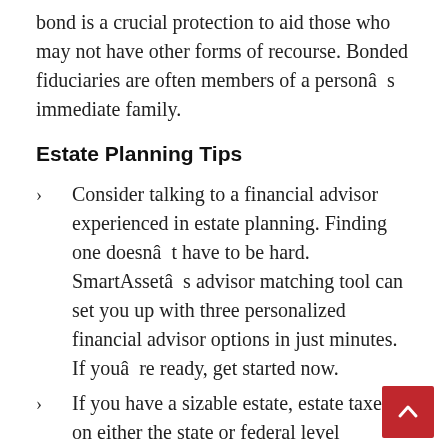bond is a crucial protection to aid those who may not have other forms of recourse. Bonded fiduciaries are often members of a personâs immediate family.
Estate Planning Tips
Consider talking to a financial advisor experienced in estate planning. Finding one doesnât have to be hard. SmartAssetâs advisor matching tool can set you up with three personalized financial advisor options in just minutes. If youâre ready, get started now.
If you have a sizable estate, estate taxes on either the state or federal level